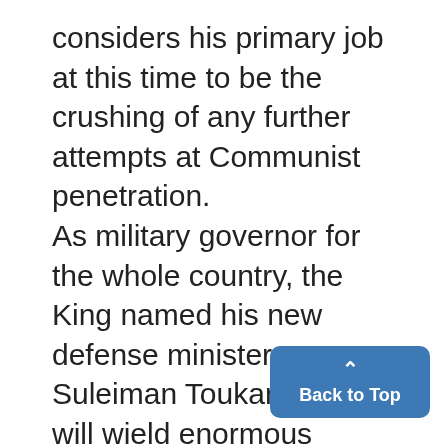considers his primary job at this time to be the crushing of any further attempts at Communist penetration. As military governor for the whole country, the King named his new defense minister, Suleiman Toukan, who will wield enormous power. This step followed a declaration of martial law Thursday and imposition of virtually total curfew upon Jordan's main cities-Amman, the capital; the Old City o